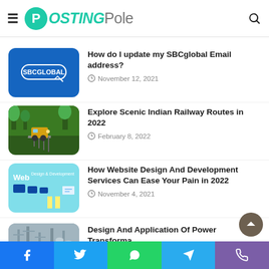PostingPole
[Figure (screenshot): SBCGlobal button on blue background]
How do I update my SBCglobal Email address?
November 12, 2021
[Figure (photo): Train on scenic railway route in India]
Explore Scenic Indian Railway Routes in 2022
February 8, 2022
[Figure (screenshot): Web Design & Development graphic]
How Website Design And Development Services Can Ease Your Pain in 2022
November 4, 2021
[Figure (photo): Power transformer infrastructure photo]
Design And Application Of Power Transforme…
November 11, 2021
Facebook | Twitter | WhatsApp | Telegram | Phone